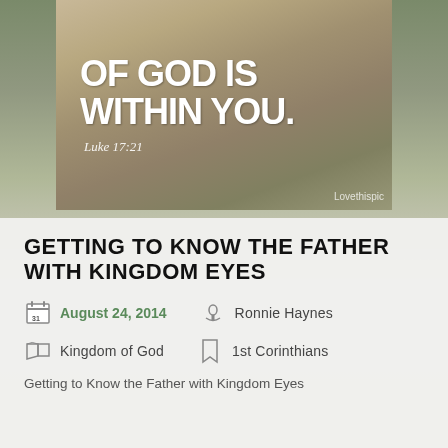[Figure (photo): Photo with overlaid text reading 'OF GOD IS WITHIN YOU.' with handwritten-style white font, and citation 'Luke 17:21', watermark 'Lovethispic']
GETTING TO KNOW THE FATHER WITH KINGDOM EYES
August 24, 2014
Ronnie Haynes
Kingdom of God
1st Corinthians
Getting to Know the Father with Kingdom Eyes